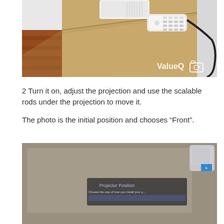[Figure (photo): Photo of a projector and remote control sitting on top of a large cardboard box. The projector is white and positioned at the top center. A white remote control lies on the box. A black cable hangs from the right side. The floor shows hardwood. A 'ValueQ' logo with a camera icon appears in the lower right of the image.]
2 Turn it on, adjust the projection and use the scalable rods under the projection to move it.
The photo is the initial position and chooses “Front”.
[Figure (screenshot): Photo of a projector menu screen displayed on a wall or screen. The menu shows 'Projector Position' with options to choose the way of how the projector is installed. A white projector device is visible in the upper right corner of the image against a beige/gray background.]